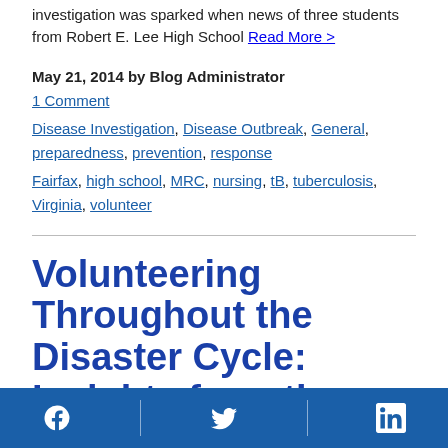investigation was sparked when news of three students from Robert E. Lee High School Read More >
May 21, 2014 by Blog Administrator
1 Comment
Disease Investigation, Disease Outbreak, General, preparedness, prevention, response
Fairfax, high school, MRC, nursing, tB, tuberculosis, Virginia, volunteer
Volunteering Throughout the Disaster Cycle: Insights from the Medical Reserve Corps
Facebook | Twitter | LinkedIn